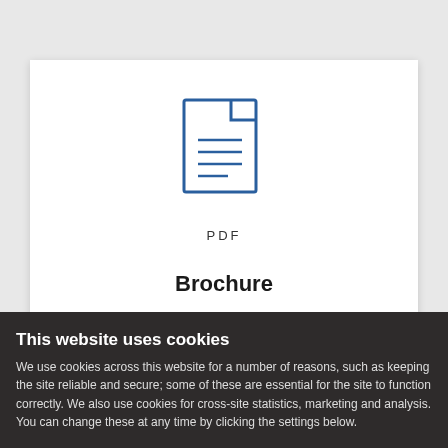[Figure (illustration): Blue outline icon of a document/PDF file with lines representing text on a white card background]
PDF
Brochure
By PDI Debt Week Europe
This website uses cookies
We use cookies across this website for a number of reasons, such as keeping the site reliable and secure; some of these are essential for the site to function correctly. We also use cookies for cross-site statistics, marketing and analysis. You can change these at any time by clicking the settings below.